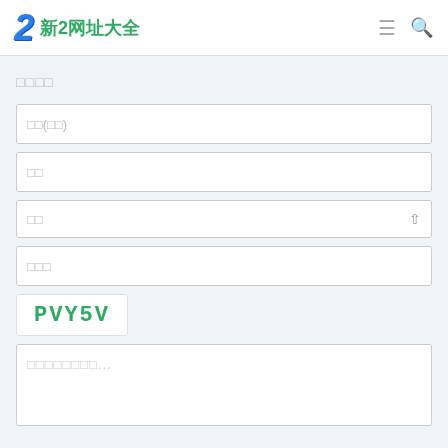新2网址大全
□□□□
□□(□□)
□□
□□
□□□
[Figure (other): CAPTCHA image showing text PVY5V in green handwritten style]
□□□□□□□□...